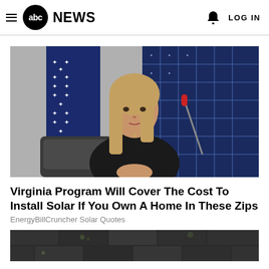abc NEWS  LOG IN
[Figure (photo): Woman in black outfit seated at a desk with microphone, American flag and solar panel in background]
Virginia Program Will Cover The Cost To Install Solar If You Own A Home In These Zips
EnergyBillCruncher Solar Quotes
[Figure (photo): Close-up of dark roofing shingles, partially visible at bottom of page]